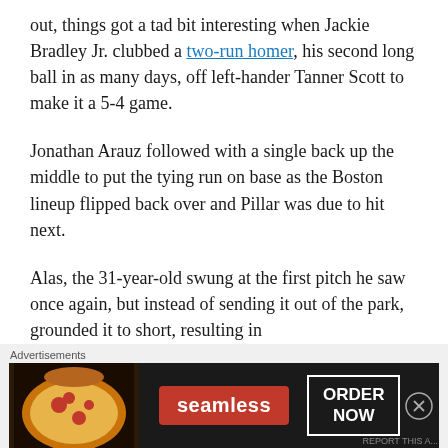out, things got a tad bit interesting when Jackie Bradley Jr. clubbed a two-run homer, his second long ball in as many days, off left-hander Tanner Scott to make it a 5-4 game.
Jonathan Arauz followed with a single back up the middle to put the tying run on base as the Boston lineup flipped back over and Pillar was due to hit next.
Alas, the 31-year-old swung at the first pitch he saw once again, but instead of sending it out of the park, grounded it to short, resulting in
[Figure (infographic): Seamless food delivery advertisement banner showing pizza image on left, Seamless logo in red, and ORDER NOW button in white border box on dark background]